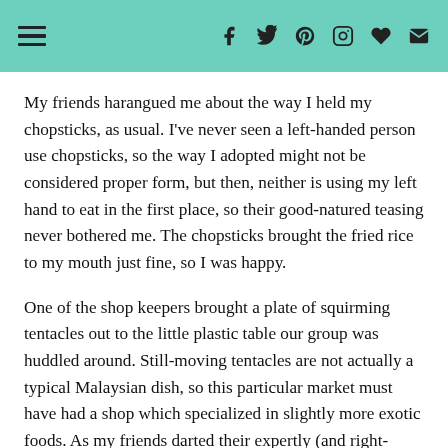Navigation and social media icon bar
My friends harangued me about the way I held my chopsticks, as usual. I've never seen a left-handed person use chopsticks, so the way I adopted might not be considered proper form, but then, neither is using my left hand to eat in the first place, so their good-natured teasing never bothered me. The chopsticks brought the fried rice to my mouth just fine, so I was happy.
One of the shop keepers brought a plate of squirming tentacles out to the little plastic table our group was huddled around. Still-moving tentacles are not actually a typical Malaysian dish, so this particular market must have had a shop which specialized in slightly more exotic foods. As my friends darted their expertly (and right-handedly) held chopsticks toward the plate of tentacles, one of them shouted, "Hey, we're eating Davy Jones!"